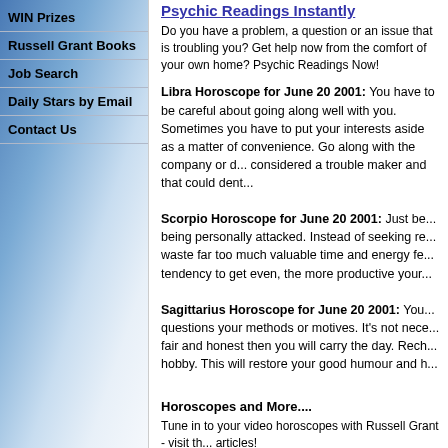WIN Prizes
Russell Grant Books
Job Search
Daily Stars by Email
Contact Us
Psychic Readings Instantly
Do you have a problem, a question or an issue that is troubling you? Get help now from the comfort of your own home? Psychic Readings Now!
Libra Horoscope for June 20 2001: You have to be careful about going along well with you. Sometimes you have to put your interests aside as a matter of convenience. Go along with the company or d... considered a trouble maker and that could dent...
Scorpio Horoscope for June 20 2001: Just be... being personally attacked. Instead of seeking re... waste far too much valuable time and energy fe... tendency to get even, the more productive your...
Sagittarius Horoscope for June 20 2001: You... questions your methods or motives. It's not nece... fair and honest then you will carry the day. Rech... hobby. This will restore your good humour and h...
Horoscopes and More....
Tune in to your video horoscopes with Russell Grant - visit th... articles!